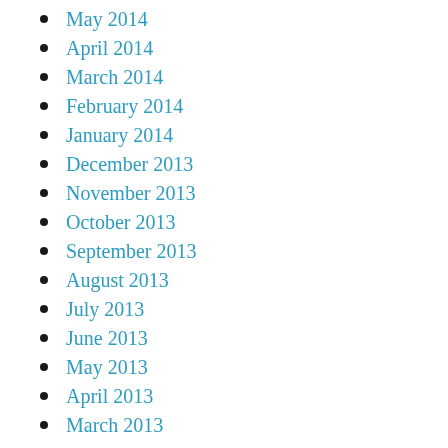May 2014
April 2014
March 2014
February 2014
January 2014
December 2013
November 2013
October 2013
September 2013
August 2013
July 2013
June 2013
May 2013
April 2013
March 2013